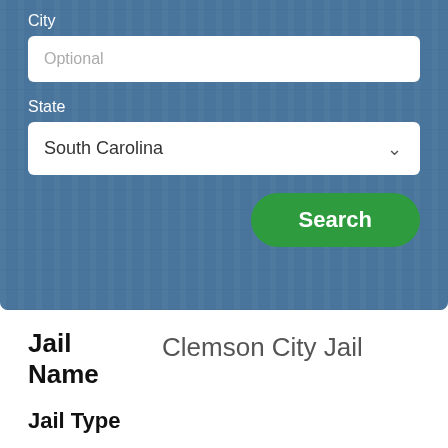[Figure (screenshot): A web search form on a blue background with jail bars imagery. Contains a City text field labeled 'Optional', a State dropdown set to 'South Carolina', and a green Search button.]
City
Optional
State
South Carolina
Search
Jail Name
Clemson City Jail
Jail Type